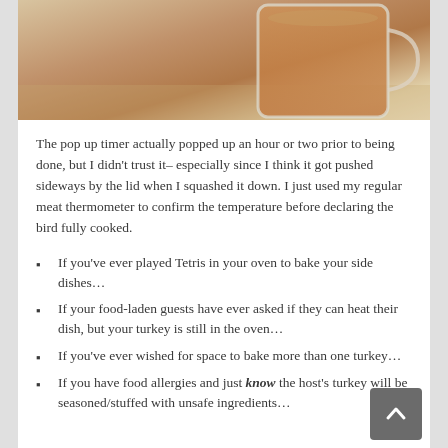[Figure (photo): A photo showing what appears to be a glass mug or container with amber/brown liquid, on a light-colored surface]
The pop up timer actually popped up an hour or two prior to being done, but I didn't trust it– especially since I think it got pushed sideways by the lid when I squashed it down. I just used my regular meat thermometer to confirm the temperature before declaring the bird fully cooked.
If you've ever played Tetris in your oven to bake your side dishes…
If your food-laden guests have ever asked if they can heat their dish, but your turkey is still in the oven…
If you've ever wished for space to bake more than one turkey…
If you have food allergies and just know the host's turkey will be seasoned/stuffed with unsafe ingredients…